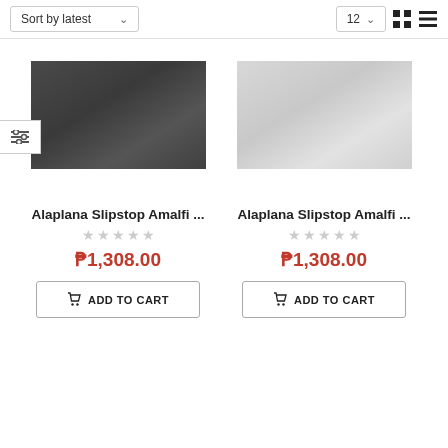Sort by latest | 12
[Figure (photo): Dark gray/charcoal stone or tile texture product image]
Alaplana Slipstop Amalfi ...
₱1,308.00
ADD TO CART
[Figure (photo): Light gray stone or tile texture product image]
Alaplana Slipstop Amalfi ...
₱1,308.00
ADD TO CART